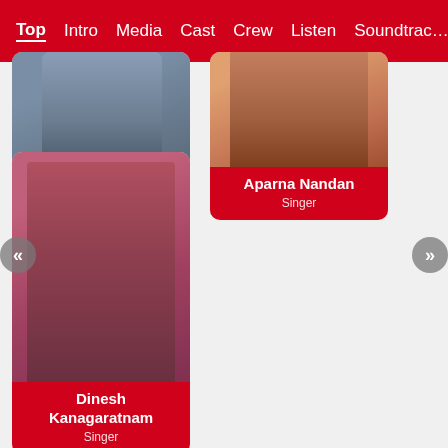Top  Intro  Media  Cast  Crew  Listen  Soundtrack
[Figure (photo): Singer Karthik – headshot photo, partially cropped at top]
Singer Karthik
Singer
[Figure (photo): Aparna Nandan – headshot photo, partially cropped at top]
Aparna Nandan
Singer
[Figure (photo): Dinesh Kanagaratnam – photo of man with braids and sunglasses against pink background]
Dinesh Kanagaratnam
Singer